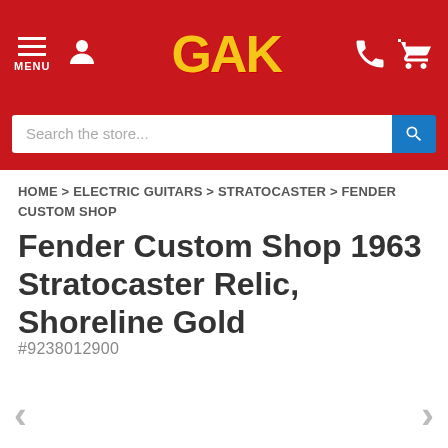[Figure (screenshot): GAK store website header with red background, GAK logo in yellow, menu icon, user icon, phone icon, and cart icon]
Search the store...
HOME > ELECTRIC GUITARS > STRATOCASTER > FENDER CUSTOM SHOP
Fender Custom Shop 1963 Stratocaster Relic, Shoreline Gold
#9238012900